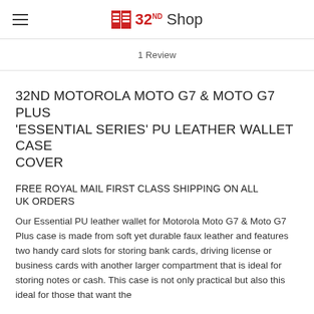32ND Shop
1 Review
32ND MOTOROLA MOTO G7 & MOTO G7 PLUS 'ESSENTIAL SERIES' PU LEATHER WALLET CASE COVER
FREE ROYAL MAIL FIRST CLASS SHIPPING ON ALL UK ORDERS
Our Essential PU leather wallet for Motorola Moto G7 & Moto G7 Plus case is made from soft yet durable faux leather and features two handy card slots for storing bank cards, driving license or business cards with another larger compartment that is ideal for storing notes or cash. This case is not only practical but also this ideal for those that want the